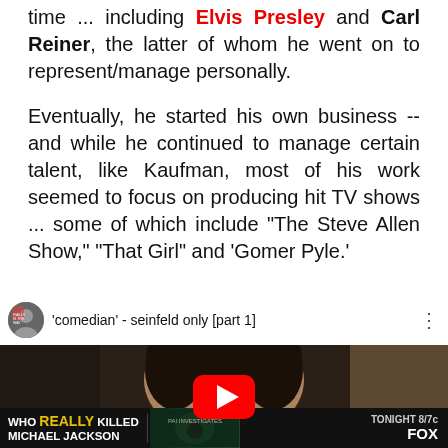time ... including Elvis Presley and Carl Reiner, the latter of whom he went on to represent/manage personally.
Eventually, he started his own business -- and while he continued to manage certain talent, like Kaufman, most of his work seemed to focus on producing hit TV shows ... some of which include "The Steve Allen Show," "That Girl" and 'Gomer Pyle.'
[Figure (screenshot): Embedded YouTube video thumbnail showing a man's face with dark curly hair, with a YouTube play button overlay. Video title: "'comedian' - seinfeld only [part 1]". An advertisement banner at the bottom reads: WHO REALLY KILLED MICHAEL JACKSON - TONIGHT 8/7c FOX]